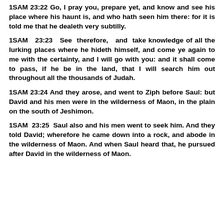1SAM 23:22 Go, I pray you, prepare yet, and know and see his place where his haunt is, and who hath seen him there: for it is told me that he dealeth very subtilly.
1SAM 23:23 See therefore, and take knowledge of all the lurking places where he hideth himself, and come ye again to me with the certainty, and I will go with you: and it shall come to pass, if he be in the land, that I will search him out throughout all the thousands of Judah.
1SAM 23:24 And they arose, and went to Ziph before Saul: but David and his men were in the wilderness of Maon, in the plain on the south of Jeshimon.
1SAM 23:25 Saul also and his men went to seek him. And they told David; wherefore he came down into a rock, and abode in the wilderness of Maon. And when Saul heard that, he pursued after David in the wilderness of Maon.